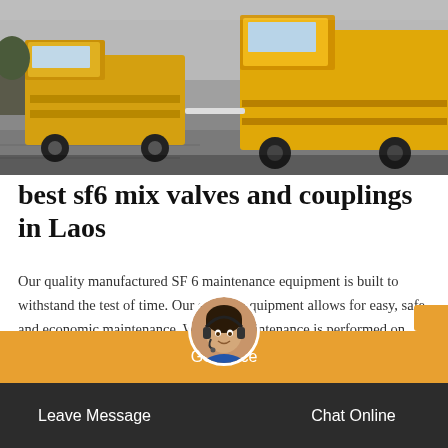[Figure (photo): Yellow construction trucks/vehicles on a road or construction site, viewed from behind, with a grey road surface and overcast sky.]
best sf6 mix valves and couplings in Laos
Our quality manufactured SF 6 maintenance equipment is built to withstand the test of time. Our service equipment allows for easy, safe and economic maintenance. Whether maintenance is performed on medium voltage switchgear, high voltage switchgear or on gas-insulated lines, our company's products are designed to make the job more efficient.
Get Price
Leave Message
Chat Online